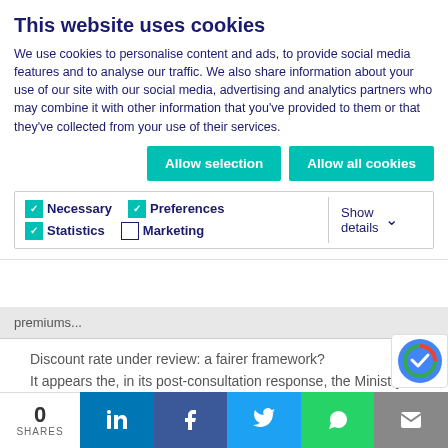This website uses cookies
We use cookies to personalise content and ads, to provide social media features and to analyse our traffic. We also share information about your use of our site with our social media, advertising and analytics partners who may combine it with other information that you've provided to them or that they've collected from your use of their services.
Allow selection | Allow all cookies
Necessary  Preferences  Statistics  Marketing  Show details
premiums...
Discount rate under review: a fairer framework? It appears the, in its post-consultation response, the Ministry of Justice (MoJ) accepts that the new rate of -0.75% overcompensates personal injury Claimants. The assumptions as to how Claimants invest are unrealistic and may produce significantly larger awards. To amend the current legislation, new legislation will be introduced
0 SHARES